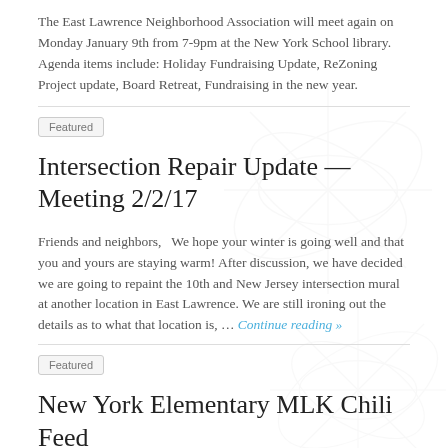The East Lawrence Neighborhood Association will meet again on Monday January 9th from 7-9pm at the New York School library. Agenda items include: Holiday Fundraising Update, ReZoning Project update, Board Retreat, Fundraising in the new year.
Featured
Intersection Repair Update — Meeting 2/2/17
Friends and neighbors,   We hope your winter is going well and that you and yours are staying warm! After discussion, we have decided we are going to repaint the 10th and New Jersey intersection mural at another location in East Lawrence. We are still ironing out the details as to what that location is, … Continue reading »
Featured
New York Elementary MLK Chili Feed
New York Elementary's Annual MLK Chili Feed Tuesday, January 17th, from 5-7pm In the New York School gym and cafeteria   All friends, family, neighbors are welcome. This is an all community event!   A free